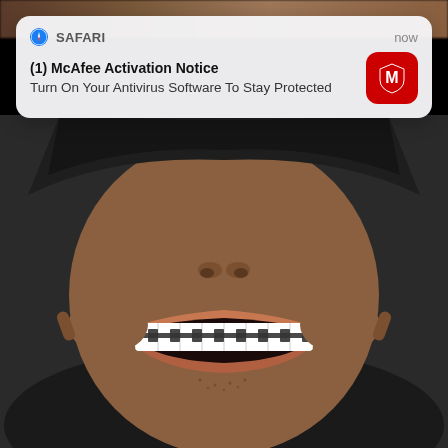[Figure (screenshot): iOS Safari push notification overlay showing McAfee Activation Notice with text 'Turn On Your Antivirus Software To Stay Protected', overlaid on a photo of a man in a hoodie smiling widely and pulling at the corners of his mouth, showing white teeth with braces.]